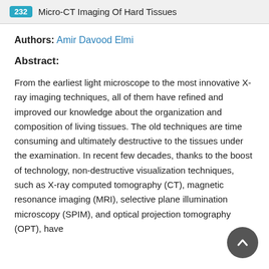232 Micro-CT Imaging Of Hard Tissues
Authors: Amir Davood Elmi
Abstract:
From the earliest light microscope to the most innovative X-ray imaging techniques, all of them have refined and improved our knowledge about the organization and composition of living tissues. The old techniques are time consuming and ultimately destructive to the tissues under the examination. In recent few decades, thanks to the boost of technology, non-destructive visualization techniques, such as X-ray computed tomography (CT), magnetic resonance imaging (MRI), selective plane illumination microscopy (SPIM), and optical projection tomography (OPT), have